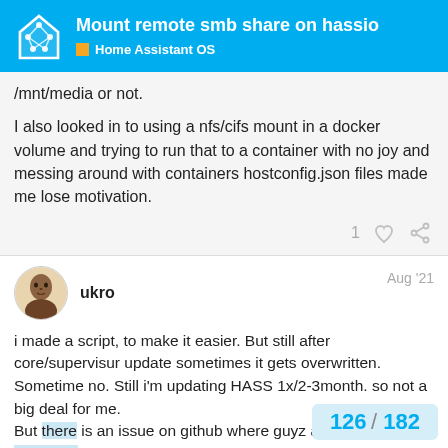Mount remote smb share on hassio — Home Assistant OS
/mnt/media or not.

I also looked in to using a nfs/cifs mount in a docker volume and trying to run that to a container with no joy and messing around with containers hostconfig.json files made me lose motivation.
ukro   Aug '21
i made a script, to make it easier. But still after core/supervisur update sometimes it gets overwritten. Sometime no. Still i'm updating HASS 1x/2-3month. so not a big deal for me.
But there is an issue on github where guyz are working on mounting remote share and have some GUI for it. So in the future it will be, but not now.
126 / 182